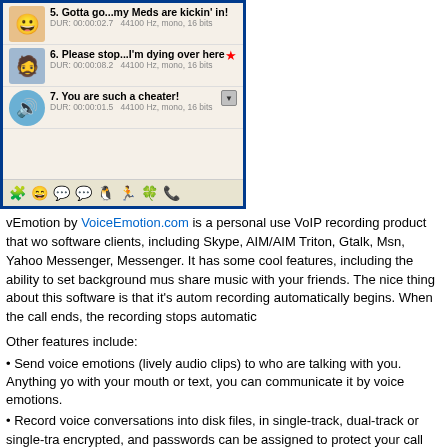[Figure (screenshot): Screenshot of vEmotion software interface showing a chat/audio clip list with items: 5. Gotta go...my Meds are kickin' in!, 6. Please stop...I'm dying over here, 7. You are such a cheater! with duration and audio info, plus toolbar with emoji/app icons at the bottom.]
vEmotion by VoiceEmotion.com is a personal use VoIP recording product that works with many software clients, including Skype, AIM/AIM Triton, Gtalk, Msn, Yahoo Messenger, and Windows Live Messenger. It has some cool features, including the ability to set background music to share music with your friends. The nice thing about this software is that it's automatic, so when a call starts, recording automatically begins. When the call ends, the recording stops automatically.
Other features include:
• Send voice emotions (lively audio clips) to who are talking with you. Anything you can't say with your mouth or text, you can communicate it by voice emotions.
• Record voice conversations into disk files, in single-track, dual-track or single-track encrypted, and passwords can be assigned to protect your call records against unauthorized access.
Finally, here are some other call recording solutions. Some are for enterprise use
Cain and Abel is an interesting VoIP call recording application. Cain & Abel was d